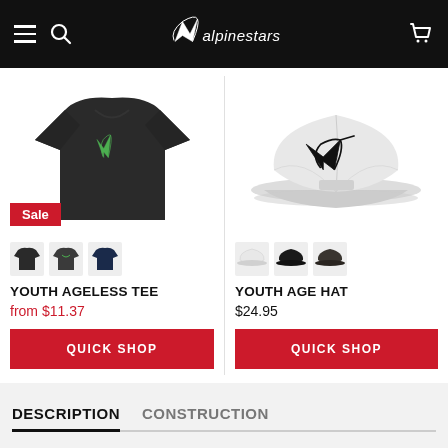Alpinestars navigation header with hamburger menu, search, logo, and cart
[Figure (photo): Dark charcoal t-shirt with green Alpinestars star logo on chest, Sale badge overlay]
[Figure (photo): White baseball cap with black Alpinestars star logo embroidered on front]
YOUTH AGELESS TEE
from $11.37
QUICK SHOP
YOUTH AGE HAT
$24.95
QUICK SHOP
DESCRIPTION
CONSTRUCTION